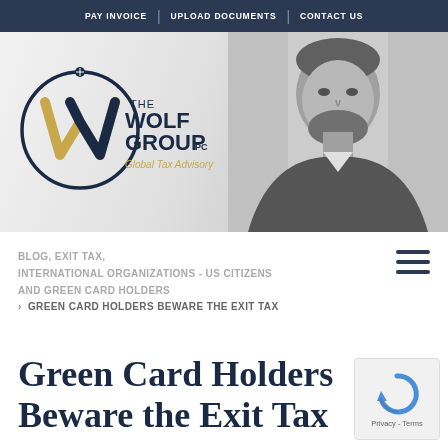PAY INVOICE | UPLOAD DOCUMENTS | CONTACT US
[Figure (logo): The Wolf Group PC - Global Tax Advisory logo with circular emblem containing stylized W in navy and gold]
[Figure (photo): Black and white portrait photo of a professional man with beard]
BLOG, EXIT TAX, INTERNATIONAL ORGANIZATIONS - US CITIZENS AND GREEN CARD HOLDERS
> GREEN CARD HOLDERS BEWARE THE EXIT TAX
Green Card Holders Beware the Exit Tax